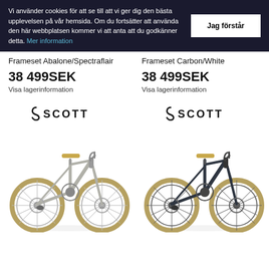Vi använder cookies för att se till att vi ger dig den bästa upplevelsen på vår hemsida. Om du fortsätter att använda den här webbplatsen kommer vi att anta att du godkänner detta. Mer information
Jag förstår
Frameset Abalone/Spectraflair
Frameset Carbon/White
38 499SEK
Visa lagerinformation
38 499SEK
Visa lagerinformation
[Figure (logo): SCOTT brand logo, left product]
[Figure (logo): SCOTT brand logo, right product]
[Figure (photo): Scott road bike frameset in Abalone/Spectraflair colorway with gold/tan tires, side view]
[Figure (photo): Scott road bike frameset in Carbon/White colorway with gold/tan tires, side view]